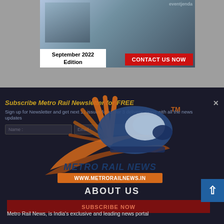[Figure (other): Magazine advertisement showing September 2022 Edition with a Contact Us Now button on red background]
[Figure (logo): Metro Rail News logo with train graphic, orange sunburst, blue train, and website URL www.metrorailnews.in with TM mark]
Subscribe Metro Rail Newsletter for FREE
Sign up for Newsletter and get next 11 issues for under 3 delivery, along with all the news updates
ABOUT US
SUBSCRIBE NOW
Metro Rail News, is India's exclusive and leading news portal